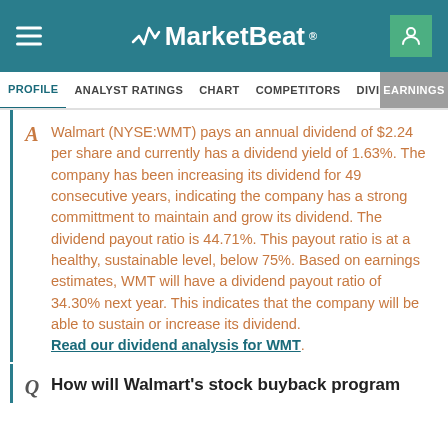MarketBeat
PROFILE  ANALYST RATINGS  CHART  COMPETITORS  DIVIDEND  EARNINGS
Walmart (NYSE:WMT) pays an annual dividend of $2.24 per share and currently has a dividend yield of 1.63%. The company has been increasing its dividend for 49 consecutive years, indicating the company has a strong committment to maintain and grow its dividend. The dividend payout ratio is 44.71%. This payout ratio is at a healthy, sustainable level, below 75%. Based on earnings estimates, WMT will have a dividend payout ratio of 34.30% next year. This indicates that the company will be able to sustain or increase its dividend. Read our dividend analysis for WMT.
How will Walmart's stock buyback program